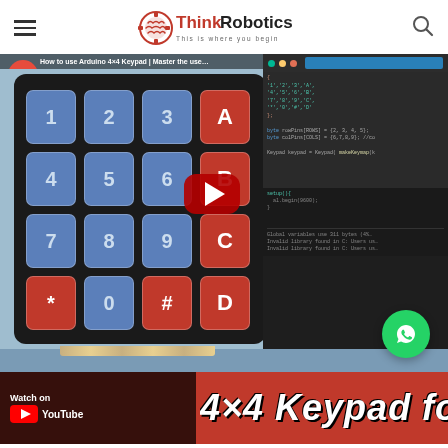ThinkRobotics – This is where you begin
[Figure (screenshot): YouTube video thumbnail showing a 4x4 keypad with numbered and lettered keys (1-9, 0, *, #, A-D) in blue and red, overlaid with Arduino IDE code. A red YouTube play button is visible. A red bar at the bottom shows 'Watch on YouTube' and '4x4 Keypad for Ardu…' text. A green WhatsApp chat bubble appears bottom-right.]